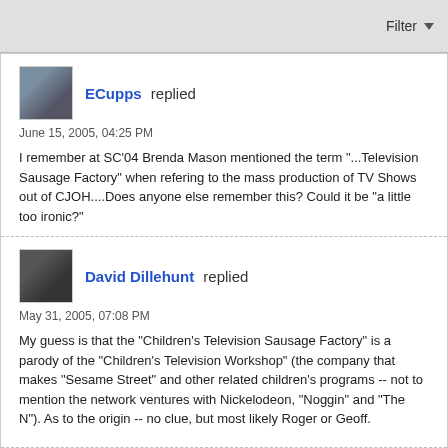Filter
ECupps replied
June 15, 2005, 04:25 PM
I remember at SC'04 Brenda Mason mentioned the term "...Television Sausage Factory" when refering to the mass production of TV Shows out of CJOH....Does anyone else remember this? Could it be "a little too ironic?"
David Dillehunt replied
May 31, 2005, 07:08 PM
My guess is that the "Children's Television Sausage Factory" is a parody of the "Children's Television Workshop" (the company that makes "Sesame Street" and other related children's programs -- not to mention the network ventures with Nickelodeon, "Noggin" and "The N"). As to the origin -- no clue, but most likely Roger or Geoff.